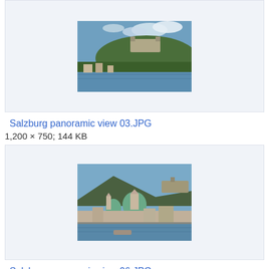[Figure (photo): Salzburg panoramic view showing a hilltop fortress and river, photo thumbnail in a light blue-grey box]
Salzburg panoramic view 03.JPG
1,200 × 750; 144 KB
[Figure (photo): Salzburg panoramic view showing cathedral domes and a bridge over a river, photo thumbnail in a light blue-grey box]
Salzburg panoramic view 06.JPG
1,200 × 900; 229 KB